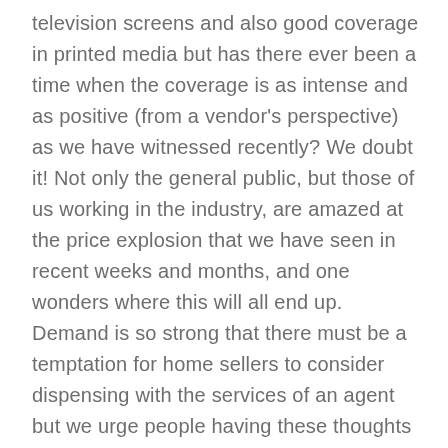television screens and also good coverage in printed media but has there ever been a time when the coverage is as intense and as positive (from a vendor's perspective) as we have witnessed recently? We doubt it! Not only the general public, but those of us working in the industry, are amazed at the price explosion that we have seen in recent weeks and months, and one wonders where this will all end up. Demand is so strong that there must be a temptation for home sellers to consider dispensing with the services of an agent but we urge people having these thoughts to exercise caution before making that decision. It is probably more important than ever before to select an agent and a method of sale that will maximise your opportunities and deliver to you the best possible result. On today's market, an experienced agent will more than pay their way with sound advice, a network of contacts, superior negotiating skills and a result that takes full advantage of today's